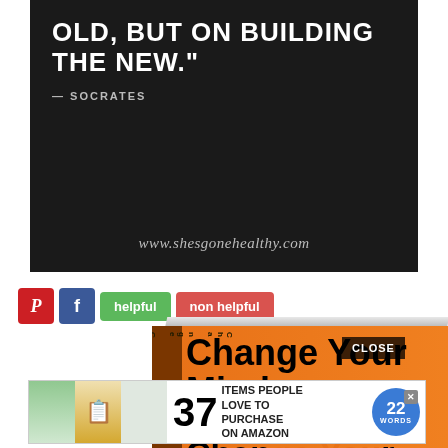[Figure (illustration): Black background motivational quote image with white bold text reading 'OLD, BUT ON BUILDING THE NEW.' attributed to Socrates, with website www.shesgonehealthy.com in cursive at the bottom]
[Figure (other): Social media sharing buttons: Pinterest (red), Facebook (blue), green 'helpful' button, red 'non helpful' button]
[Figure (illustration): Orange book cover titled 'Change Your Mind, Change Your Life' with a person figure on the cover]
CLOSE
[Figure (infographic): Advertisement banner: 37 ITEMS PEOPLE LOVE TO PURCHASE ON AMAZON, with 22 Words logo]